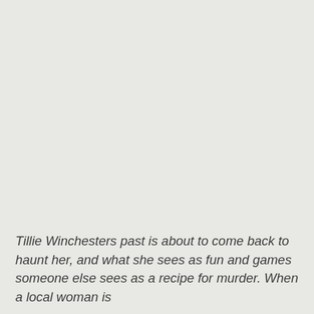Tillie Winchesters past is about to come back to haunt her, and what she sees as fun and games someone else sees as a recipe for murder. When a local woman is